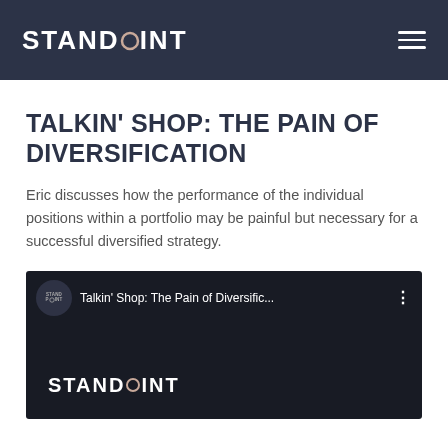STANDPOINT
TALKIN' SHOP: THE PAIN OF DIVERSIFICATION
Eric discusses how the performance of the individual positions within a portfolio may be painful but necessary for a successful diversified strategy.
[Figure (screenshot): YouTube video thumbnail for 'Talkin' Shop: The Pain of Diversific...' by Standpoint, showing the Standpoint logo on a dark background]